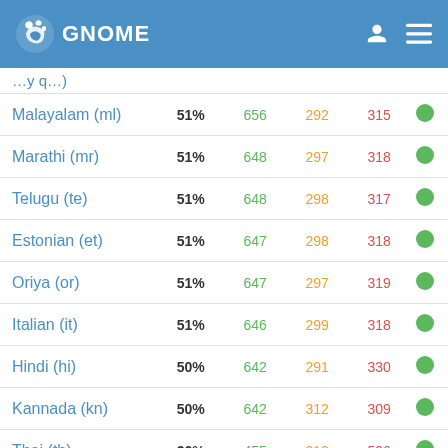GNOME
| Language | % | green | orange | red |  |
| --- | --- | --- | --- | --- | --- |
| Malayalam (ml) | 51% | 656 | 292 | 315 |  |
| Marathi (mr) | 51% | 648 | 297 | 318 |  |
| Telugu (te) | 51% | 648 | 298 | 317 |  |
| Estonian (et) | 51% | 647 | 298 | 318 |  |
| Oriya (or) | 51% | 647 | 297 | 319 |  |
| Italian (it) | 51% | 646 | 299 | 318 |  |
| Hindi (hi) | 50% | 642 | 291 | 330 |  |
| Kannada (kn) | 50% | 642 | 312 | 309 |  |
| Thai (th) | 36% | 455 | 212 | 596 |  |
| Macedonian (mk) | 35% | 454 | 221 | 588 |  |